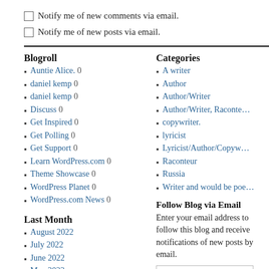☐ Notify me of new comments via email.
☐ Notify me of new posts via email.
Blogroll
Auntie Alice. 0
daniel kemp 0
daniel kemp 0
Discuss 0
Get Inspired 0
Get Polling 0
Get Support 0
Learn WordPress.com 0
Theme Showcase 0
WordPress Planet 0
WordPress.com News 0
Last Month
August 2022
July 2022
June 2022
May 2022
Categories
A writer
Author
Author/Writer
Author/Writer, Raconteur
copywriter.
lyricist
Lyricist/Author/Copyw...
Raconteur
Russia
Writer and would be poe...
Follow Blog via Email
Enter your email address to follow this blog and receive notifications of new posts by email.